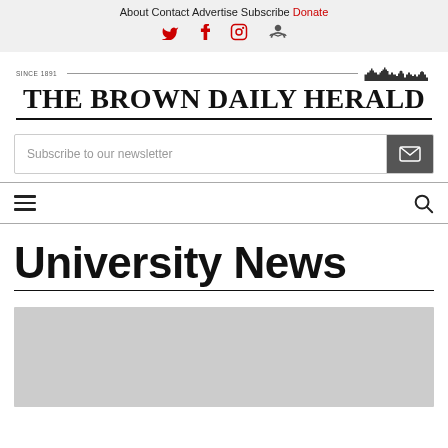About  Contact  Advertise  Subscribe  Donate
[Figure (logo): The Brown Daily Herald masthead logo with skyline illustration and horizontal rules]
Subscribe to our newsletter
[Figure (screenshot): Navigation bar with hamburger menu icon on the left and search icon on the right]
University News
[Figure (photo): Grey image placeholder below University News heading]